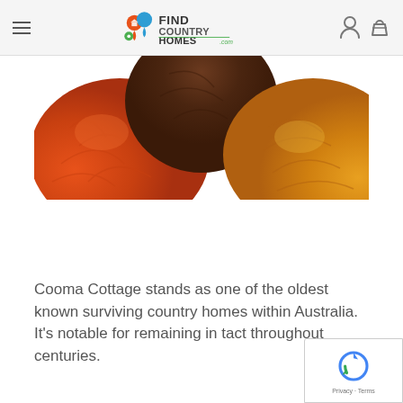FIND COUNTRY HOMES .com
[Figure (photo): Close-up photo of colorful wool yarn balls in orange, dark brown/chocolate, and golden yellow colors]
Cooma Cottage stands as one of the oldest known surviving country homes within Australia. It's notable for remaining in tact throughout centuries.